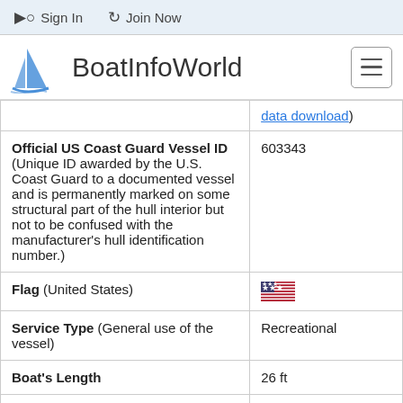Sign In   Join Now
BoatInfoWorld
| (data download) |  |
| Official US Coast Guard Vessel ID (Unique ID awarded by the U.S. Coast Guard to a documented vessel and is permanently marked on some structural part of the hull interior but not to be confused with the manufacturer's hull identification number.) | 603343 |
| Flag (United States) | [US flag] |
| Service Type (General use of the vessel) | Recreational |
| Boat's Length | 26 ft |
| Boat's Gross Tons | 8 |
| Boat's Net Tons | 6 |
| Vessel Build Year | 1978 |